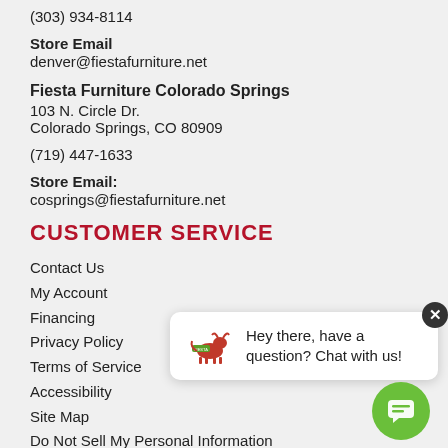(303) 934-8114
Store Email
denver@fiestafurniture.net
Fiesta Furniture Colorado Springs
103 N. Circle Dr.
Colorado Springs, CO 80909
(719) 447-1633
Store Email:
cosprings@fiestafurniture.net
CUSTOMER SERVICE
Contact Us
My Account
Financing
Privacy Policy
Terms of Service
Accessibility
Site Map
Do Not Sell My Personal Information
[Figure (screenshot): Chat popup with Fiesta Furniture logo and message: Hey there, have a question? Chat with us!]